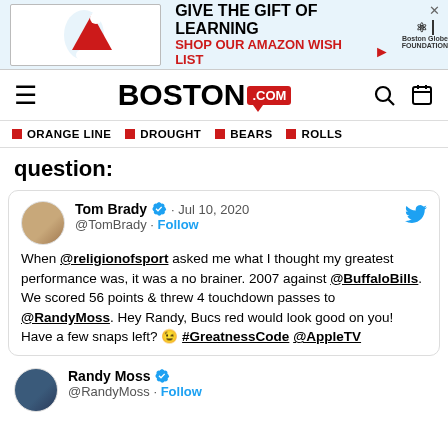[Figure (infographic): Boston Globe Foundation advertisement: 'GIVE THE GIFT OF LEARNING - SHOP OUR AMAZON WISH LIST' with arrow and Santa hat decoration]
[Figure (logo): Boston.com navigation bar with hamburger menu, Boston.com logo, search icon, and calendar icon]
ORANGE LINE   DROUGHT   BEARS   ROLLS
question:
[Figure (screenshot): Tweet from Tom Brady @TomBrady · Jul 10, 2020: When @religionofsport asked me what I thought my greatest performance was, it was a no brainer. 2007 against @BuffaloBills. We scored 56 points & threw 4 touchdown passes to @RandyMoss. Hey Randy, Bucs red would look good on you! Have a few snaps left? 😉 #GreatnessCode @AppleTV]
Randy Moss @RandyMoss · Follow